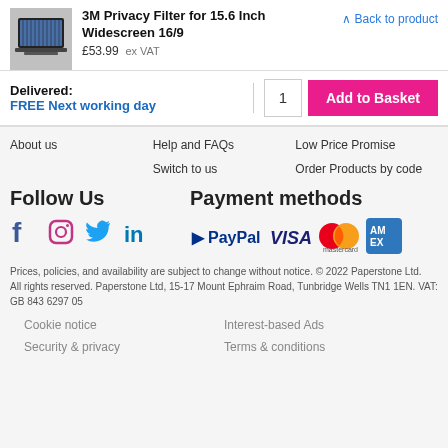3M Privacy Filter for 15.6 Inch Widescreen 16/9
£53.99  ex VAT
Back to product
Delivered:
FREE Next working day
1
Add to Basket
About us
Help and FAQs
Low Price Promise
Switch to us
Order Products by code
Follow Us
Payment methods
[Figure (logo): Social media icons: Facebook, Instagram, Twitter, LinkedIn]
[Figure (logo): Payment method logos: PayPal, VISA, Mastercard, American Express]
Prices, policies, and availability are subject to change without notice. © 2022 Paperstone Ltd.
All rights reserved. Paperstone Ltd, 15-17 Mount Ephraim Road, Tunbridge Wells TN1 1EN. VAT: GB 843 6297 05
Cookie notice
Interest-based Ads
Security & privacy
Terms & conditions